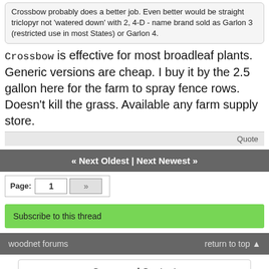Crossbow probably does a better job.  Even better would be straight triclopyr not 'watered down' with 2, 4-D - name brand sold as Garlon 3 (restricted use in most States) or Garlon 4.
Crossbow is effective for most broadleaf plants.  Generic versions are cheap.  I buy it by the 2.5 gallon here for the farm to spray fence rows.  Doesn't kill the grass.  Available any farm supply store.
Quote
« Next Oldest | Next Newest »
Page: 1 »
Subscribe to this thread
woodnet forums    return to top ▲
Sponsored Content